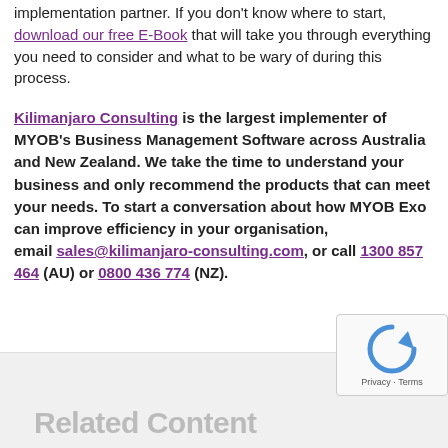implementation partner. If you don't know where to start, download our free E-Book that will take you through everything you need to consider and what to be wary of during this process.
Kilimanjaro Consulting is the largest implementer of MYOB's Business Management Software across Australia and New Zealand. We take the time to understand your business and only recommend the products that can meet your needs. To start a conversation about how MYOB Exo can improve efficiency in your organisation, email sales@kilimanjaro-consulting.com, or call 1300 857 464 (AU) or 0800 436 774 (NZ).
Related Content